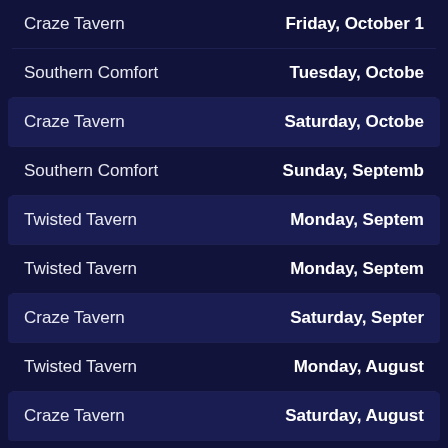Craze Tavern | Friday, October 1
Southern Comfort | Tuesday, Octobe
Craze Tavern | Saturday, Octobe
Southern Comfort | Sunday, Septemb
Twisted Tavern | Monday, Septem
Twisted Tavern | Monday, Septem
Craze Tavern | Saturday, Septer
Twisted Tavern | Monday, August
Craze Tavern | Saturday, August